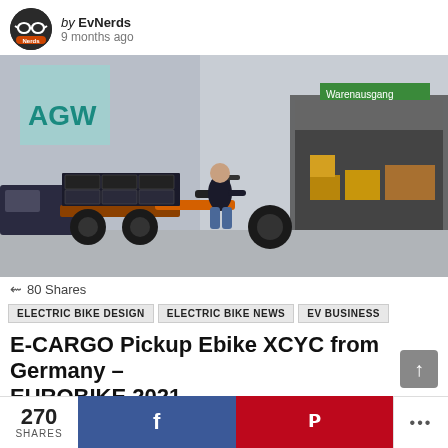by EvNerds
9 months ago
[Figure (photo): Man riding an orange electric cargo trike loaded with black plastic crates outside a warehouse with a 'Warenausgang' sign]
80 Shares
ELECTRIC BIKE DESIGN
ELECTRIC BIKE NEWS
EV BUSINESS
E-CARGO Pickup Ebike XCYC from Germany – EUROBIKE 2021
270 SHARES  f  ®  ...